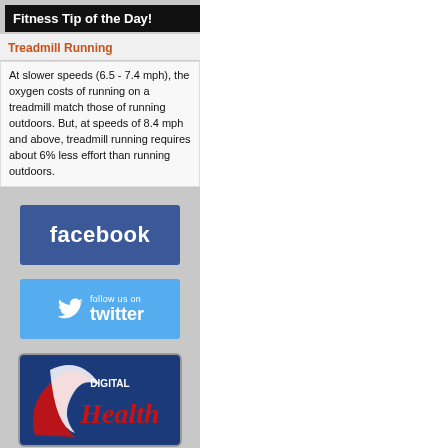Fitness Tip of the Day!
Treadmill Running
At slower speeds (6.5 - 7.4 mph), the oxygen costs of running on a treadmill match those of running outdoors. But, at speeds of 8.4 mph and above, treadmill running requires about 6% less effort than running outdoors.
[Figure (logo): Facebook logo badge — blue rectangle with white 'facebook' text]
[Figure (logo): Twitter badge — light blue rectangle with bird icon and 'follow us on twitter' text]
[Figure (logo): Digital Health logo — dark blue rounded rectangle with red and white Health script logo]